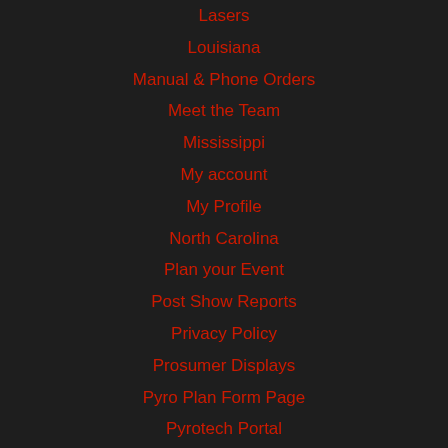Lasers
Louisiana
Manual & Phone Orders
Meet the Team
Mississippi
My account
My Profile
North Carolina
Plan your Event
Post Show Reports
Privacy Policy
Prosumer Displays
Pyro Plan Form Page
Pyrotech Portal
Registration
Rentals
Rooftop & Outdoor